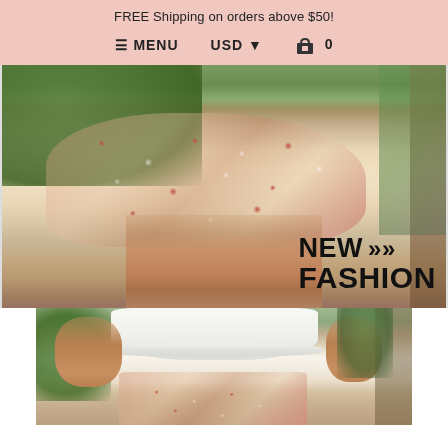FREE Shipping on orders above $50!
≡ MENU   USD ▾   🛍 0
[Figure (photo): Woman wearing a floral midi skirt with sandals, standing on white gravel, with green foliage in background. Overlay text reads NEW >> FASHION.]
[Figure (photo): Woman wearing white ruffled crop top and floral mini skirt, standing near wooden structure with green plants.]